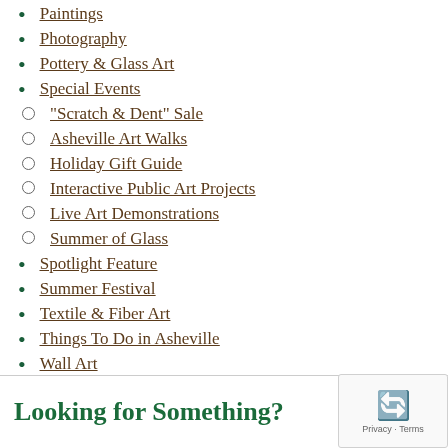Paintings
Photography
Pottery & Glass Art
Special Events
"Scratch & Dent" Sale
Asheville Art Walks
Holiday Gift Guide
Interactive Public Art Projects
Live Art Demonstrations
Summer of Glass
Spotlight Feature
Summer Festival
Textile & Fiber Art
Things To Do in Asheville
Wall Art
Wood Art & Furniture
Looking for Something?